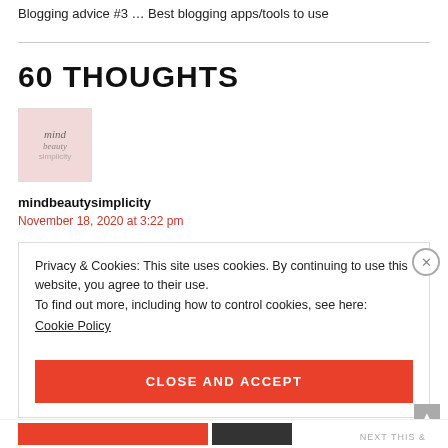Blogging advice #3 … Best blogging apps/tools to use
60 THOUGHTS
[Figure (photo): Avatar image for mindbeautysimplicity blog logo on a pink background]
mindbeautysimplicity
November 18, 2020 at 3:22 pm
Privacy & Cookies: This site uses cookies. By continuing to use this website, you agree to their use.
To find out more, including how to control cookies, see here:
Cookie Policy
CLOSE AND ACCEPT